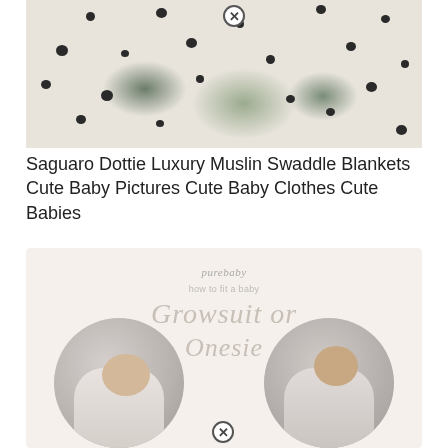[Figure (photo): Close-up photo of white muslin swaddle blankets with black polka dots and cactus patterns, layered together on a surface. A circular close/remove button appears at top center.]
Saguaro Dottie Luxury Muslin Swaddle Blankets Cute Baby Pictures Cute Baby Clothes Cute Babies
[Figure (infographic): Purebaby branded infographic on a cream/beige background. Header reads 'purebaby' in italic script, subtitle 'how to fit a baby', then large script text 'Growsuit or Onesie'. Two circular photo thumbnails at the bottom show babies lying down wearing onesies. A circular close/remove button appears at bottom center.]